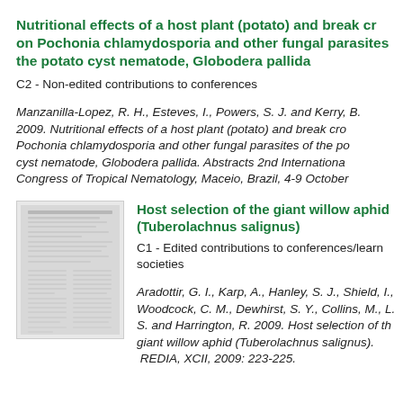Nutritional effects of a host plant (potato) and break crops on Pochonia chlamydosporia and other fungal parasites of the potato cyst nematode, Globodera pallida
C2 - Non-edited contributions to conferences
Manzanilla-Lopez, R. H., Esteves, I., Powers, S. J. and Kerry, B. 2009. Nutritional effects of a host plant (potato) and break crops on Pochonia chlamydosporia and other fungal parasites of the potato cyst nematode, Globodera pallida. Abstracts 2nd International Congress of Tropical Nematology, Maceio, Brazil, 4-9 October
[Figure (photo): Thumbnail image of a scientific document/paper page]
Host selection of the giant willow aphid (Tuberolachnus salignus)
C1 - Edited contributions to conferences/learned societies
Aradottir, G. I., Karp, A., Hanley, S. J., Shield, I., Woodcock, C. M., Dewhirst, S. Y., Collins, M., L. S. and Harrington, R. 2009. Host selection of the giant willow aphid (Tuberolachnus salignus).  REDIA, XCII, 2009: 223-225.